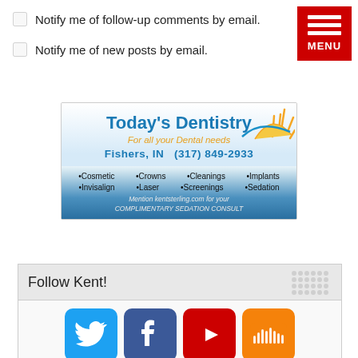Notify me of follow-up comments by email.
Notify me of new posts by email.
[Figure (illustration): Today's Dentistry advertisement banner. Blue and gradient background with sun graphic. Text: Today's Dentistry, For all your Dental needs, Fishers IN (317) 849-2933. Services: Cosmetic, Crowns, Cleanings, Implants, Invisalign, Laser, Screenings, Sedation. Mention kentsterling.com for your COMPLIMENTARY SEDATION CONSULT.]
Follow Kent!
[Figure (illustration): Social media icons row: Twitter (blue bird), Facebook (blue F), YouTube (red play button), SoundCloud (orange waveform)]